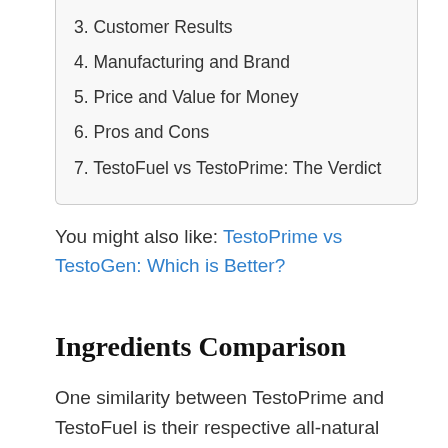3. Customer Results
4. Manufacturing and Brand
5. Price and Value for Money
6. Pros and Cons
7. TestoFuel vs TestoPrime: The Verdict
You might also like: TestoPrime vs TestoGen: Which is Better?
Ingredients Comparison
One similarity between TestoPrime and TestoFuel is their respective all-natural